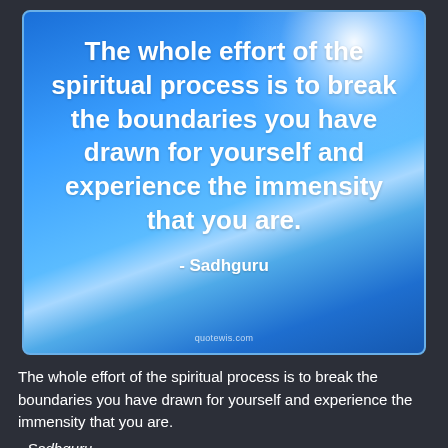[Figure (illustration): A quote card with a bright blue sky and sunburst background. Large bold white text displays the Sadhguru quote. Attribution '- Sadhguru' appears below. Watermark 'quotewis.com' at bottom.]
The whole effort of the spiritual process is to break the boundaries you have drawn for yourself and experience the immensity that you are.
- Sadhguru